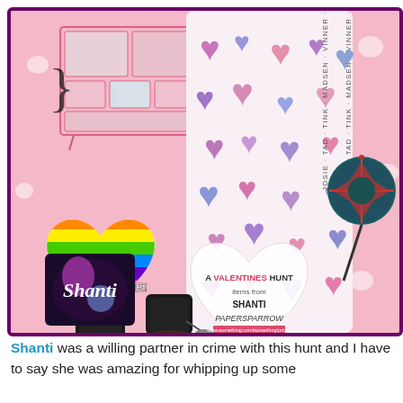[Figure (photo): Promotional collage image with pink background showing colorful heart-patterned leggings/pants worn by a model, rainbow heart graphic with text 'LOOK FOR ME!', a furniture/drawer unit top left, black ankle boots, a circular patterned accessory, a 'Shanti' branded logo bottom left, and a heart-shaped text overlay reading 'A VALENTINES HUNT items from SHANTI PAPER SPARROW'. The leggings feature text along the sides reading 'JOSIE - TAD - TINK - MADSEN - VINNER - ELOWE - ROBIN']
Shanti was a willing partner in crime with this hunt and I have to say she was amazing for whipping up some